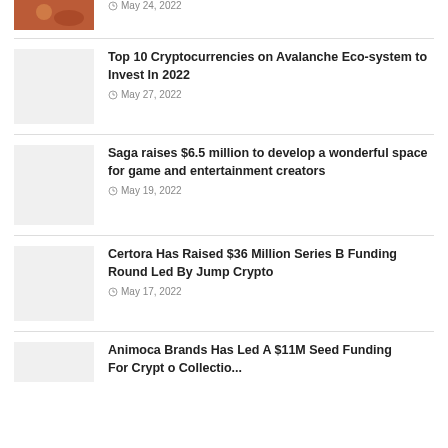[Figure (photo): Food photo thumbnail]
May 24, 2022
Top 10 Cryptocurrencies on Avalanche Ecosystem to Invest In 2022
May 27, 2022
Saga raises $6.5 million to develop a wonderful space for game and entertainment creators
May 19, 2022
Certora Has Raised $36 Million Series B Funding Round Led By Jump Crypto
May 17, 2022
Animoca Brands Has Led A $11M Seed Funding For Crypto Collectio...